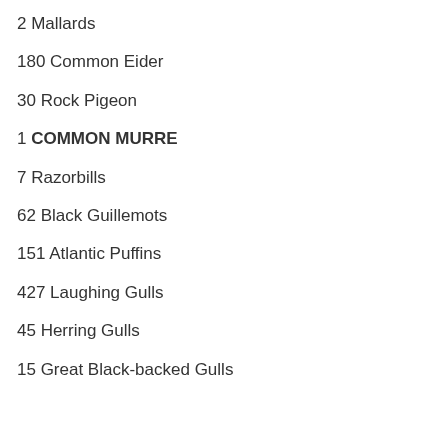2 Mallards
180 Common Eider
30 Rock Pigeon
1 COMMON MURRE
7 Razorbills
62 Black Guillemots
151 Atlantic Puffins
427 Laughing Gulls
45 Herring Gulls
15 Great Black-backed Gulls